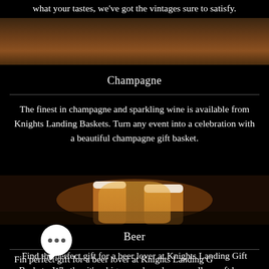what your tastes, we've got the vintages sure to satisfy.
[Figure (photo): Dark wooden background photo, partial view]
Champagne
The finest in champagne and sparkling wine is available from Knights Landing Baskets. Turn any event into a celebration with a beautiful champagne gift basket.
[Figure (photo): Photo of two glasses of beer/champagne on a dark wooden surface]
Beer
Find the perfect gift for a beer lover at Knights Landing Gift Baskets. Whether it's a big name brand or a smaller craft beer, we're sure to have just what you need.